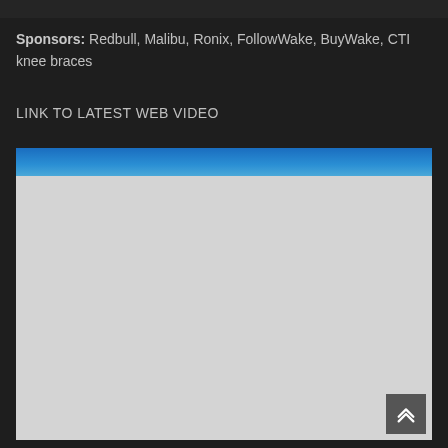Sponsors: Redbull, Malibu, Ronix, FollowWake, BuyWake, CTI knee braces
LINK TO LATEST WEB VIDEO
[Figure (screenshot): Embedded video player showing a blue sky at the top and a grey/placeholder content area below, with a scroll-to-top button in the bottom right corner.]